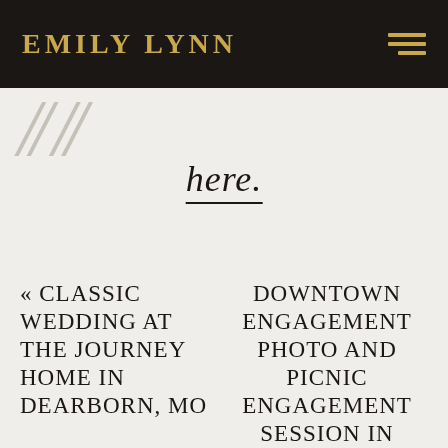EMILY LYNN
[Figure (illustration): Decorative italic slash marks in light gray]
here.
« CLASSIC WEDDING AT THE JOURNEY HOME IN DEARBORN, MO
DOWNTOWN ENGAGEMENT PHOTO AND PICNIC ENGAGEMENT SESSION IN LAWRENCE, KS